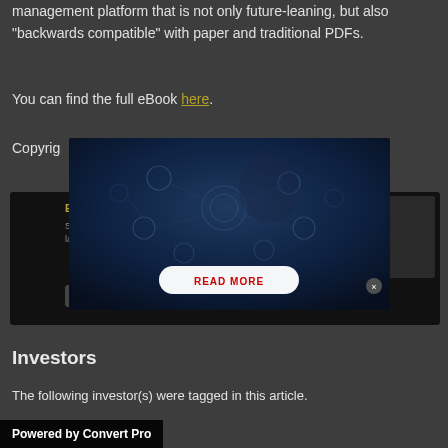why companies need to invest in a customer conversations management platform that is not only future-leaning, but also "backwards compatible" with paper and traditional PDFs.
You can find the full eBook here.
Copyright
[Figure (screenshot): Modal popup overlay showing a dark tech-themed image with network/IoT icons and a 'READ MORE' button, overlaid on a newsletter subscription box]
Investors
The following investor(s) were tagged in this article.
Powered by Convert Pro